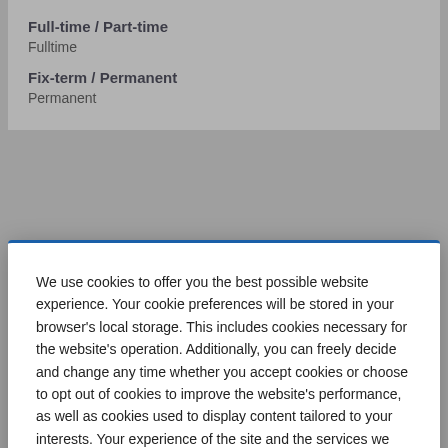Full-time / Part-time
Fulltime
Fix-term / Permanent
Permanent
We use cookies to offer you the best possible website experience. Your cookie preferences will be stored in your browser's local storage. This includes cookies necessary for the website's operation. Additionally, you can freely decide and change any time whether you accept cookies or choose to opt out of cookies to improve the website's performance, as well as cookies used to display content tailored to your interests. Your experience of the site and the services we are able to offer may be impacted if you do not accept all cookies.